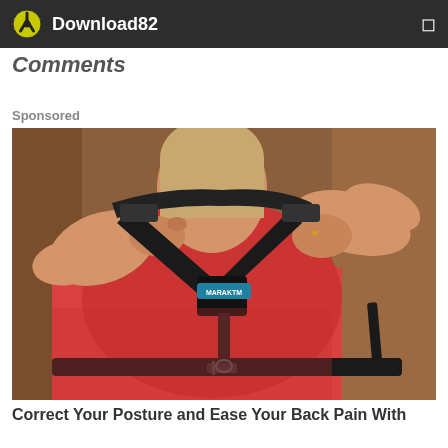Download82
Comments
Sponsored
[Figure (photo): Person wearing a black posture corrector brace (labeled MARAKTM) over a red shirt, being adjusted from behind by another person's hands.]
Correct Your Posture and Ease Your Back Pain With